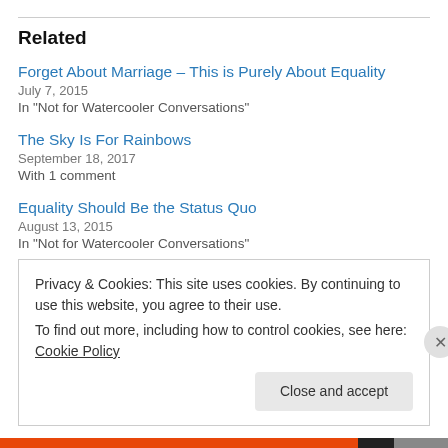Related
Forget About Marriage – This is Purely About Equality
July 7, 2015
In "Not for Watercooler Conversations"
The Sky Is For Rainbows
September 18, 2017
With 1 comment
Equality Should Be the Status Quo
August 13, 2015
In "Not for Watercooler Conversations"
Privacy & Cookies: This site uses cookies. By continuing to use this website, you agree to their use.
To find out more, including how to control cookies, see here: Cookie Policy
Close and accept